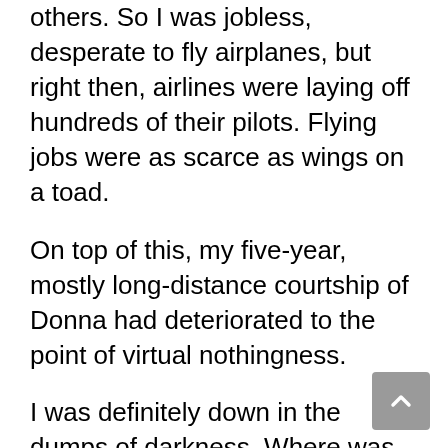others. So I was jobless, desperate to fly airplanes, but right then, airlines were laying off hundreds of their pilots. Flying jobs were as scarce as wings on a toad.
On top of this, my five-year, mostly long-distance courtship of Donna had deteriorated to the point of virtual nothingness.
I was definitely down in the dumps of darkness. Where was Jesus in all this? Unconsidered, shoved aside.
But some good came out of those dreary months. I decided to serve as a volunteer in a Christian children's camp for four months, during which time, I determined to overcome my embarrassing tobacco addiction. And did.